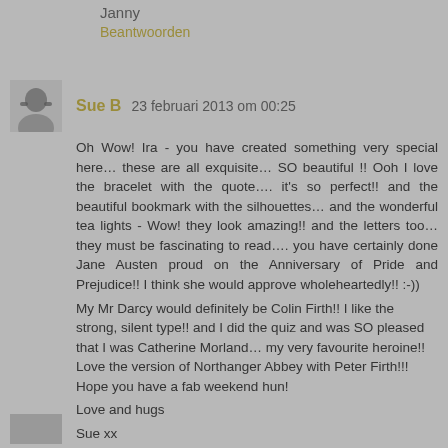Janny
Beantwoorden
Sue B  23 februari 2013 om 00:25
Oh Wow! Ira - you have created something very special here… these are all exquisite… SO beautiful !! Ooh I love the bracelet with the quote…. it's so perfect!! and the beautiful bookmark with the silhouettes… and the wonderful tea lights - Wow! they look amazing!! and the letters too… they must be fascinating to read…. you have certainly done Jane Austen proud on the Anniversary of Pride and Prejudice!! I think she would approve wholeheartedly!! :-))
My Mr Darcy would definitely be Colin Firth!! I like the strong, silent type!! and I did the quiz and was SO pleased that I was Catherine Morland… my very favourite heroine!! Love the version of Northanger Abbey with Peter Firth!!! Hope you have a fab weekend hun! Love and hugs Sue xx